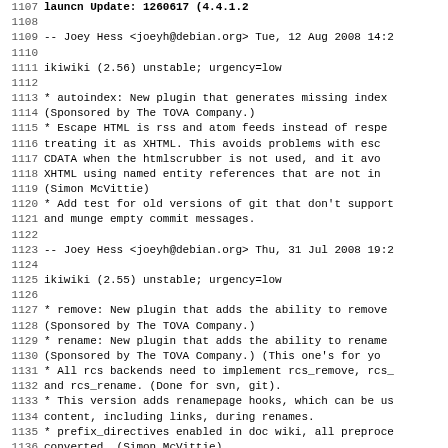1107  -- launcn Update: 1260617 (4.4.1.2
1108
1109  -- Joey Hess <joeyh@debian.org>  Tue, 12 Aug 2008 14:2
1110
1111 ikiwiki (2.56) unstable; urgency=low
1112
1113   * autoindex: New plugin that generates missing index
1114     (Sponsored by The TOVA Company.)
1115   * Escape HTML is rss and atom feeds instead of respe
1116     treating it as XHTML. This avoids problems with esc
1117     CDATA when the htmlscrubber is not used, and it avo
1118     XHTML using named entity references that are not in
1119     (Simon McVittie)
1120   * Add test for old versions of git that don't support
1121     and munge empty commit messages.
1122
1123  -- Joey Hess <joeyh@debian.org>  Thu, 31 Jul 2008 19:2
1124
1125 ikiwiki (2.55) unstable; urgency=low
1126
1127   * remove: New plugin that adds the ability to remove
1128     (Sponsored by The TOVA Company.)
1129   * rename: New plugin that adds the ability to rename
1130     (Sponsored by The TOVA Company.) (This one's for yo
1131   * All rcs backends need to implement rcs_remove, rcs_
1132     and rcs_rename. (Done for svn, git).
1133   * This version adds renamepage hooks, which can be us
1134     content, including links, during renames.
1135   * prefix_directives enabled in doc wiki, all preproce
1136     converted. (Simon McVittie)
1137   * editpage: Don't show attachments link when attachme
1138   * tag: Allow tagbase to be overridden by starting a t
1139     (Simon McVittie)